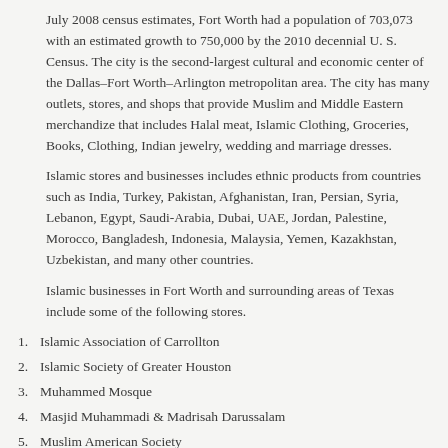July 2008 census estimates, Fort Worth had a population of 703,073 with an estimated growth to 750,000 by the 2010 decennial U. S. Census. The city is the second-largest cultural and economic center of the Dallas–Fort Worth–Arlington metropolitan area. The city has many outlets, stores, and shops that provide Muslim and Middle Eastern merchandize that includes Halal meat, Islamic Clothing, Groceries, Books, Clothing, Indian jewelry, wedding and marriage dresses.
Islamic stores and businesses includes ethnic products from countries such as India, Turkey, Pakistan, Afghanistan, Iran, Persian, Syria, Lebanon, Egypt, Saudi-Arabia, Dubai, UAE, Jordan, Palestine, Morocco, Bangladesh, Indonesia, Malaysia, Yemen, Kazakhstan, Uzbekistan, and many other countries.
Islamic businesses in Fort Worth and surrounding areas of Texas include some of the following stores.
1. Islamic Association of Carrollton
2. Islamic Society of Greater Houston
3. Muhammed Mosque
4. Masjid Muhammadi & Madrisah Darussalam
5. Muslim American Society
6. MARYA MASJID